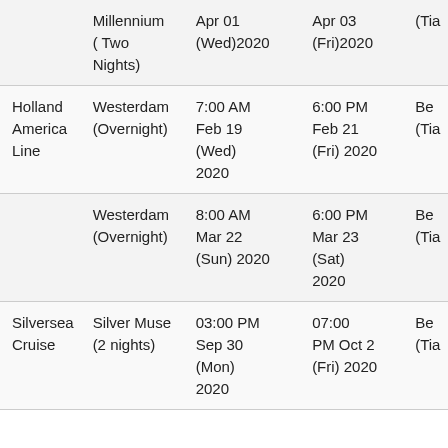| Cruise Line | Ship | Departure | Return | Port |
| --- | --- | --- | --- | --- |
|  | Millennium (Two Nights) | Apr 01 (Wed) 2020 | Apr 03 (Fri) 2020 | Be... (Tia |
| Holland America Line | Westerdam (Overnight) | 7:00 AM Feb 19 (Wed) 2020 | 6:00 PM Feb 21 (Fri) 2020 | Be... (Tia |
|  | Westerdam (Overnight) | 8:00 AM Mar 22 (Sun) 2020 | 6:00 PM Mar 23 (Sat) 2020 | Be... (Tia |
| Silversea Cruise | Silver Muse (2 nights) | 03:00 PM Sep 30 (Mon) 2020 | 07:00 PM Oct 2 (Fri) 2020 | Be... (Tia |